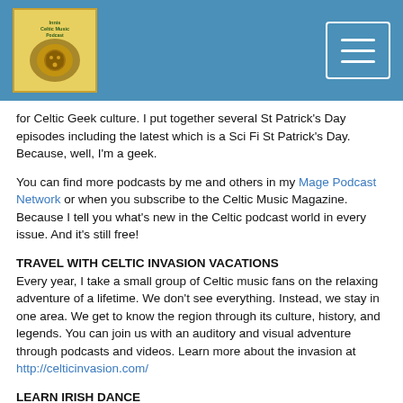Celtic Geek Music Podcast Network
for Celtic Geek culture. I put together several St Patrick's Day episodes including the latest which is a Sci Fi St Patrick's Day. Because, well, I'm a geek.
You can find more podcasts by me and others in my Mage Podcast Network or when you subscribe to the Celtic Music Magazine. Because I tell you what's new in the Celtic podcast world in every issue. And it's still free!
TRAVEL WITH CELTIC INVASION VACATIONS
Every year, I take a small group of Celtic music fans on the relaxing adventure of a lifetime. We don't see everything. Instead, we stay in one area. We get to know the region through its culture, history, and legends. You can join us with an auditory and visual adventure through podcasts and videos. Learn more about the invasion at http://celticinvasion.com/
LEARN IRISH DANCE
Irish music, dance, and culture have global appeal, but not everyone has the opportunity to access lessons in their neighborhood.